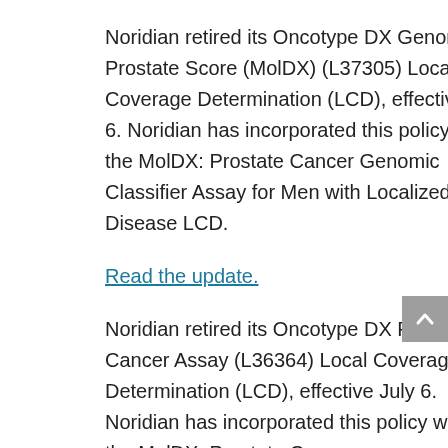Noridian retired its Oncotype DX Genomic Prostate Score (MolDX) (L37305) Local Coverage Determination (LCD), effective July 6. Noridian has incorporated this policy within the MolDX: Prostate Cancer Genomic Classifier Assay for Men with Localized Disease LCD.
Read the update.
Noridian retired its Oncotype DX Prostate Cancer Assay (L36364) Local Coverage Determination (LCD), effective July 6. Noridian has incorporated this policy within the MolDX: Prostate Cancer